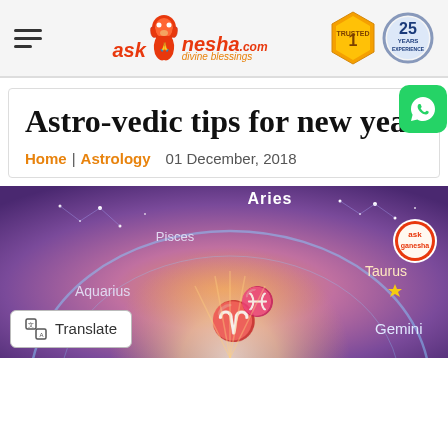askganesha.com — divine blessings | Trusted 25 Years Experience
Astro-vedic tips for new year
Home | Astrology   01 December, 2018
[Figure (photo): Zodiac wheel illustration showing constellation stars on a purple cosmic background with zodiac signs: Aries, Pisces, Aquarius, Taurus, Gemini, with glowing central sun motif and askganesha.com logo badge]
Translate